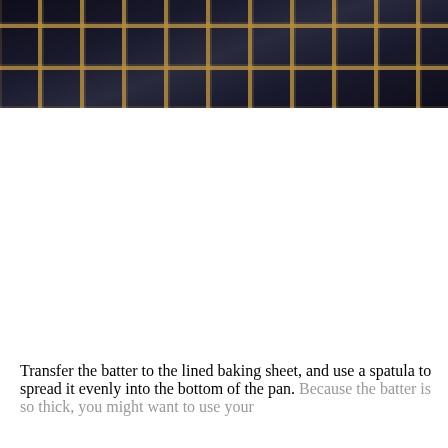[Figure (photo): Close-up photo of a metal wire rack or cooling rack with a grid pattern, gold/bronze colored bars against a dark background.]
Transfer the batter to the lined baking sheet, and use a spatula to spread it evenly into the bottom of the pan. Because the batter is so thick, you might want to use your